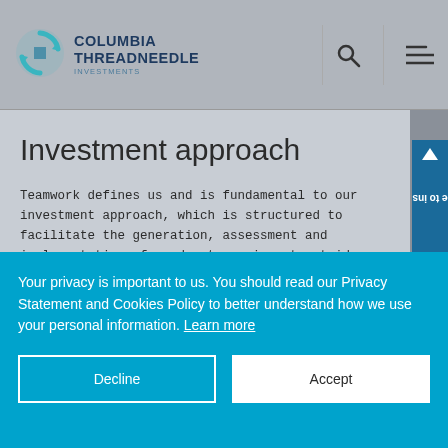[Figure (logo): Columbia Threadneedle Investments logo with teal circular arrow icon and brand name]
Investment approach
Teamwork defines us and is fundamental to our investment approach, which is structured to facilitate the generation, assessment and implementation of good, strong investment ideas for our portfolios.
Read more
Your privacy is important to us. You should read our Privacy Statement and Cookies Policy to better understand how we use your personal information. Learn more
Decline
Accept